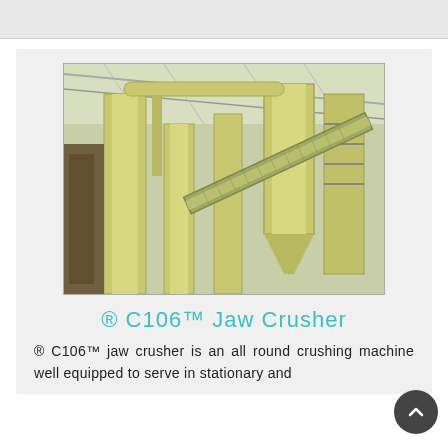[Figure (photo): Industrial jaw crusher machinery with yellow/cream colored cylindrical columns, pipes, conveyor belt, and metal framework inside a large industrial facility with metal roof structure.]
® C106™ Jaw Crusher
® C106™ jaw crusher is an all round crushing machine well equipped to serve in stationary and